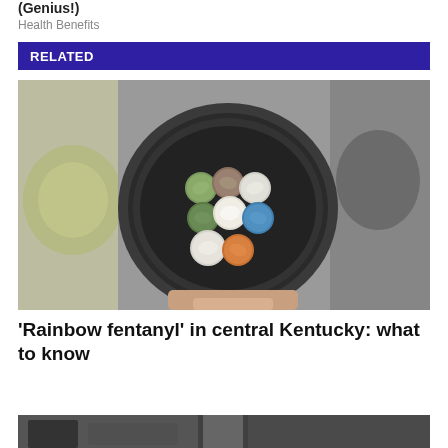(Genius!)
Health Benefits
RELATED
[Figure (photo): Photo of colorful round pills/tablets arranged in a dark metal bowl, against a metallic surface. Pills are various colors: green, brown, white, blue, orange.]
'Rainbow fentanyl' in central Kentucky: what to know
[Figure (photo): Partial view of a dark interior scene at the bottom of the page, cut off.]